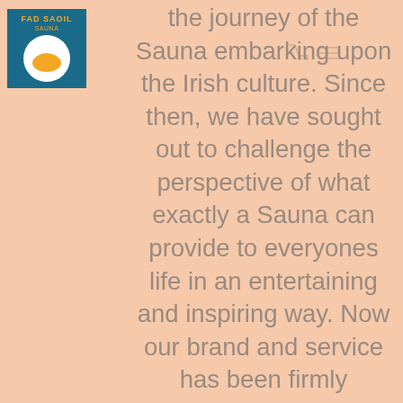[Figure (logo): Fad Saoil Sauna brand logo — teal/blue square background with orange text 'FAD SAOIL' and a circular icon below]
the journey of the Sauna embarking upon the Irish culture. Since then, we have sought out to challenge the perspective of what exactly a Sauna can provide to everyones life in an entertaining and inspiring way. Now our brand and service has been firmly established within the health, wellness, and the entertainment industries. We are privileged to have such a welcoming and growing community, and we can't wait to incorporate your local community into ours.